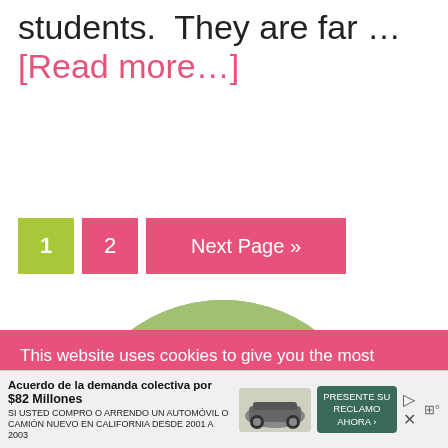students.  They are far … [Read more…]
1  2  Next Page »
[Figure (photo): Circular cropped photo of a blonde child in a green outdoor setting, showing the top half of their face peeking up]
This website uses cookies to give you the most relevant experience. By using our website, you consent to our Privacy Policy and the use of all cookies.
[Figure (other): Advertisement banner: Acuerdo de la demanda colectiva por $82 Millones. SI USTED COMPRO O ARRENDO UN AUTOMOVIL O CAMION NUEVO EN CALIFORNIA DESDE 2001 A 2003. PRESENTE SU RECLAMO AHORA. With car image and close button.]